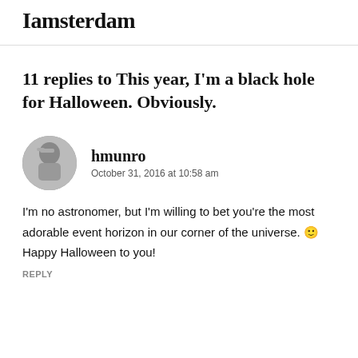Iamsterdam
11 replies to This year, I'm a black hole for Halloween. Obviously.
hmunro
October 31, 2016 at 10:58 am
I'm no astronomer, but I'm willing to bet you're the most adorable event horizon in our corner of the universe. 🙂 Happy Halloween to you!
REPLY